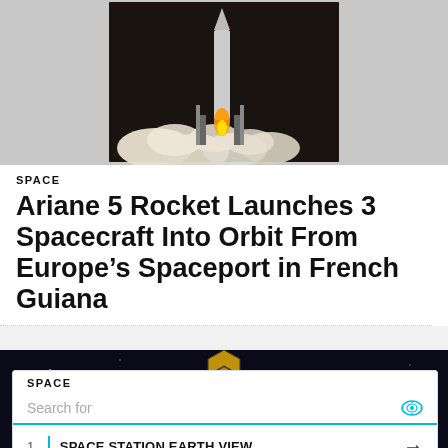[Figure (photo): Rocket launch with smoke and flames, night/dusk environment, launch tower visible]
SPACE
Ariane 5 Rocket Launches 3 Spacecraft Into Orbit From Europe’s Spaceport in French Guiana
[Figure (photo): James Webb Space Telescope illustration against dark background, showing gold hexagonal mirror segments and solar panel]
SPACE
[Figure (other): Search ad widget with items: 1. SPACE STATION EARTH VIEW, 2. SPACE STATION LIVE, footer: Ad | Cellphone Guru]